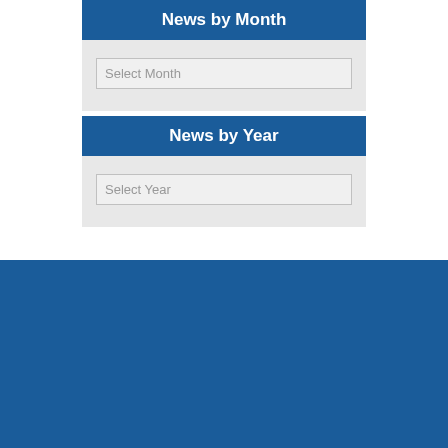News by Month
Select Month
News by Year
Select Year